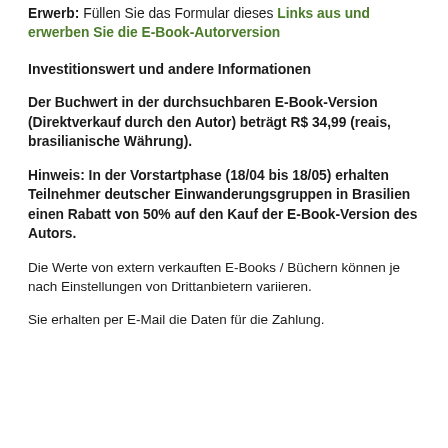Erwerb: Füllen Sie das Formular dieses Links aus und erwerben Sie die E-Book-Autorversion
Investitionswert und andere Informationen
Der Buchwert in der durchsuchbaren E-Book-Version (Direktverkauf durch den Autor) beträgt R$ 34,99 (reais, brasilianische Währung).
Hinweis: In der Vorstartphase (18/04 bis 18/05) erhalten Teilnehmer deutscher Einwanderungsgruppen in Brasilien einen Rabatt von 50% auf den Kauf der E-Book-Version des Autors.
Die Werte von extern verkauften E-Books / Büchern können je nach Einstellungen von Drittanbietern variieren.
Sie erhalten per E-Mail die Daten für die Zahlung.